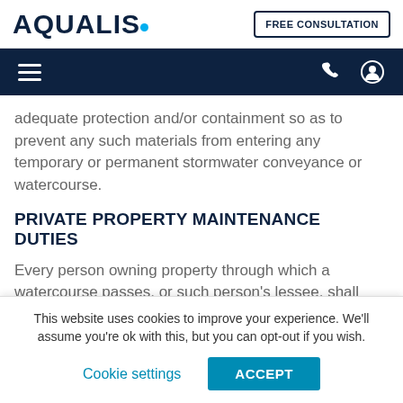AQUALIS | FREE CONSULTATION
adequate protection and/or containment so as to prevent any such materials from entering any temporary or permanent stormwater conveyance or watercourse.
PRIVATE PROPERTY MAINTENANCE DUTIES
Every person owning property through which a watercourse passes, or such person's lessee, shall keep and maintain that part of the watercourse located within their property boundaries, free of trash, debris, excessive vegetation, and
This website uses cookies to improve your experience. We'll assume you're ok with this, but you can opt-out if you wish.